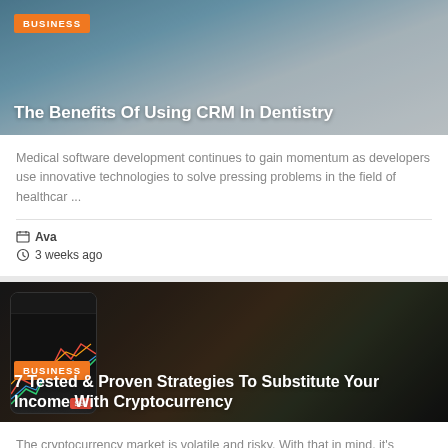[Figure (photo): Hero image for dentistry CRM article showing medical/dental setting with blue-toned background. Orange BUSINESS badge and white title text overlaid.]
The Benefits Of Using CRM In Dentistry
Medical software development continues to gain momentum as developers use innovative technologies to solve pressing problems in the field of healthcar ...
Ava
3 weeks ago
[Figure (photo): Hero image for cryptocurrency article showing a smartphone with trading charts and bitcoin coins on a dark wooden table. Orange BUSINESS badge and white title text overlaid.]
7 Tested & Proven Strategies To Substitute Your Income With Cryptocurrency
The cryptocurrency market is volatile and risky. With that in mind, it's important to do your research before investing in any cryptocurrency. Ther ...